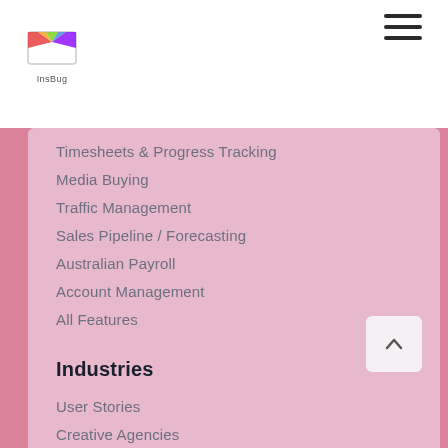[Figure (logo): InsBug logo with colorful envelope icon and text 'InsBug' below]
[Figure (other): Hamburger menu icon (three horizontal lines)]
Timesheets & Progress Tracking
Media Buying
Traffic Management
Sales Pipeline / Forecasting
Australian Payroll
Account Management
All Features
Industries
User Stories
Creative Agencies
Digital Agencies
Advertising Agencies
Landscape Architecture
Architectural firms